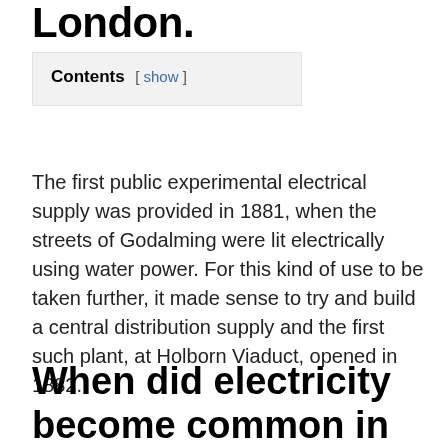London.
| Contents | [ show ] |
| --- | --- |
The first public experimental electrical supply was provided in 1881, when the streets of Godalming were lit electrically using water power. For this kind of use to be taken further, it made sense to try and build a central distribution supply and the first such plant, at Holborn Viaduct, opened in 1882.
When did electricity become common in London?